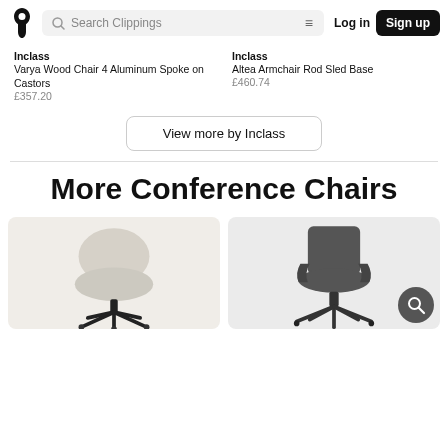Clippings — Search Clippings | Log in | Sign up
Inclass
Varya Wood Chair 4 Aluminum Spoke on Castors
£357.20
Inclass
Altea Armchair Rod Sled Base
£460.74
View more by Inclass
More Conference Chairs
[Figure (photo): Light beige upholstered conference chair with black star base on castors]
[Figure (photo): Dark grey mesh/plastic conference chair with armrests on a swivel base, with a circular search icon overlay in the bottom right]